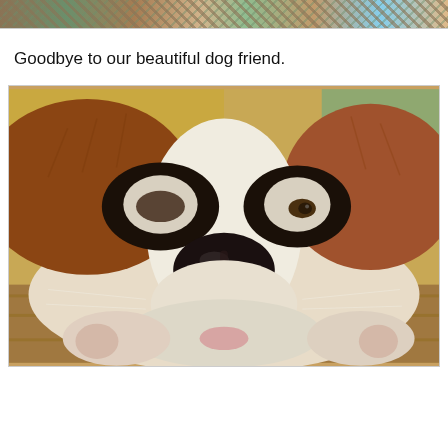[Figure (photo): Partial top strip showing a decorative or woven textile/rug pattern with earthy and green tones]
Goodbye to our beautiful dog friend.
[Figure (photo): Close-up photo of a Saint Bernard dog lying down with its head resting on its paws, looking tired or sad. The dog has classic Saint Bernard coloring: white and brown fur on top, black markings around the eyes, a large black nose, and pink paws visible at the bottom. The background shows a yellow-green wall and wooden floor.]